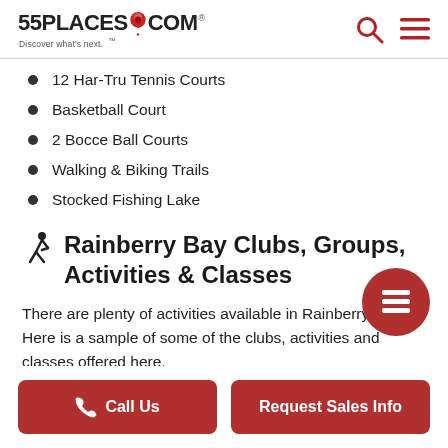55PLACES.COM Discover what's next.
12 Har-Tru Tennis Courts
Basketball Court
2 Bocce Ball Courts
Walking & Biking Trails
Stocked Fishing Lake
Rainberry Bay Clubs, Groups, Activities & Classes
There are plenty of activities available in Rainberry Bay. Here is a sample of some of the clubs, activities and classes offered here.
Call Us | Request Sales Info